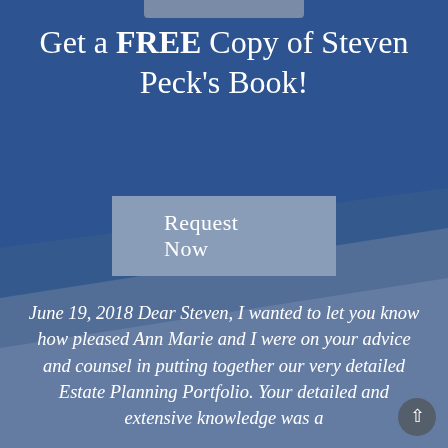Get a FREE Copy of Steven Peck's Book!
Request Now
June 19, 2018 Dear Steven, I wanted to let you know how pleased Ann Marie and I were on your advice and counsel in putting together our very detailed Estate Planning Portfolio. Your detailed and extensive knowledge was a